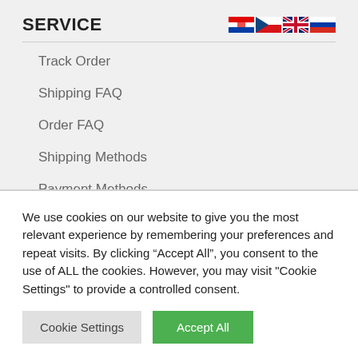SERVICE
Track Order
Shipping FAQ
Order FAQ
Shipping Methods
Payment Methods
Top Searches
We use cookies on our website to give you the most relevant experience by remembering your preferences and repeat visits. By clicking “Accept All”, you consent to the use of ALL the cookies. However, you may visit "Cookie Settings" to provide a controlled consent.
Cookie Settings
Accept All